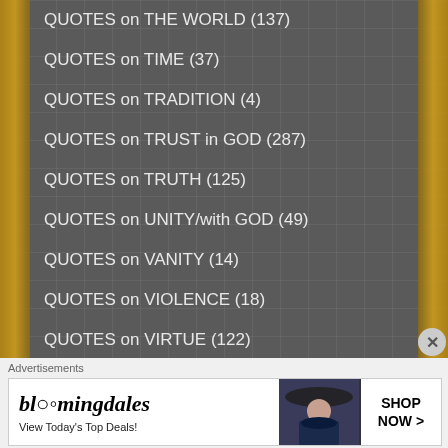QUOTES on THE WORLD (137)
QUOTES on TIME (37)
QUOTES on TRADITION (4)
QUOTES on TRUST in GOD (287)
QUOTES on TRUTH (125)
QUOTES on UNITY/with GOD (49)
QUOTES on VANITY (14)
QUOTES on VIOLENCE (18)
QUOTES on VIRTUE (122)
QUOTES on VOCATIONS (20)
QUOTES on WATCHING (26)
[Figure (infographic): Bloomingdale's advertisement banner: logo text 'bloomingdales', tagline 'View Today's Top Deals!', photo of woman in wide-brim hat, 'SHOP NOW >' call to action button. Labeled 'Advertisements' above.]